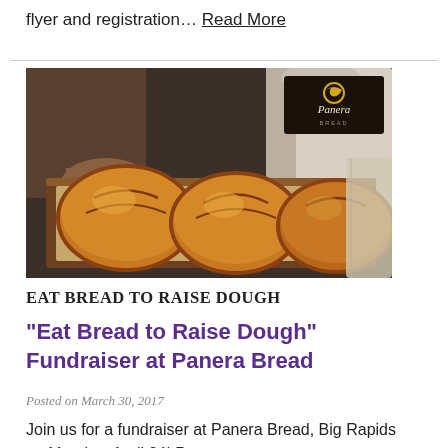flyer and registration… Read More
[Figure (photo): Panera Bread promotional photo showing three round artisan bread loaves on a baking tray held by a person in a white apron, with the Panera Bread logo visible in the upper right corner of the image.]
EAT BREAD TO RAISE DOUGH
“Eat Bread to Raise Dough” Fundraiser at Panera Bread
Posted on March 30, 2017
Join us for a fundraiser at Panera Bread, Big Rapids on Monday, April 24! Panera